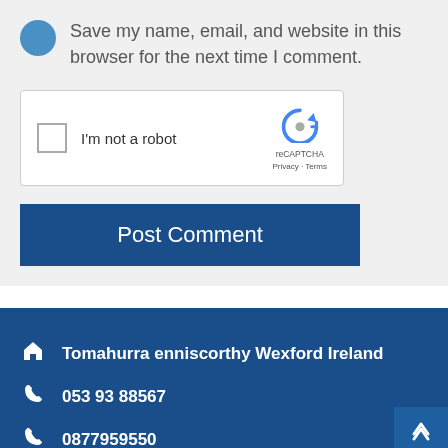Save my name, email, and website in this browser for the next time I comment.
[Figure (screenshot): reCAPTCHA widget with checkbox labeled 'I'm not a robot' and Google reCAPTCHA logo on the right]
Post Comment
Tomahurra enniscorthy Wexford Ireland
053 93 88567
0877959550